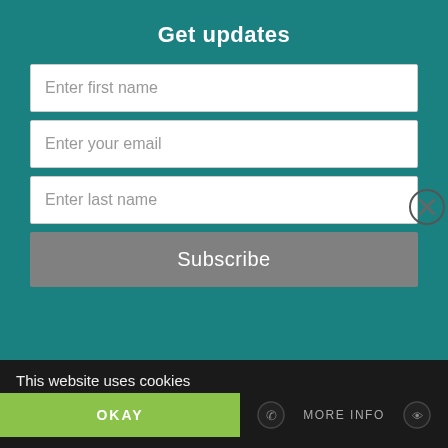Get updates
Enter first name
Enter your email
Enter last name
Subscribe
[Figure (screenshot): Grid of book covers including: The Wedding, Who Loves Me, Sex and Marriage, Dear Atheist..., Afraid to Disagree?, Traffic Jam, Made For More, Grace And Truth, The Better Covenant, The Gift Of Sight]
This website uses cookies
OKAY
MORE INFO